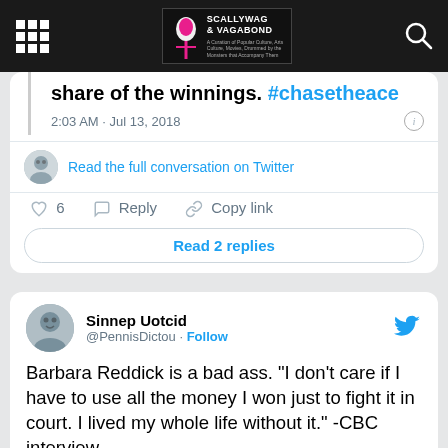Scallywag & Vagabond
share of the winnings. #chasetheace
2:03 AM · Jul 13, 2018
Read the full conversation on Twitter
6  Reply  Copy link
Read 2 replies
Sinnep Uotcid @PennisDictou · Follow
Barbara Reddick is a bad ass. "I don't care if I have to use all the money I won just to fight it in court. I lived my whole life without it." -CBC interview
3:31 AM · Jul 14, 2018